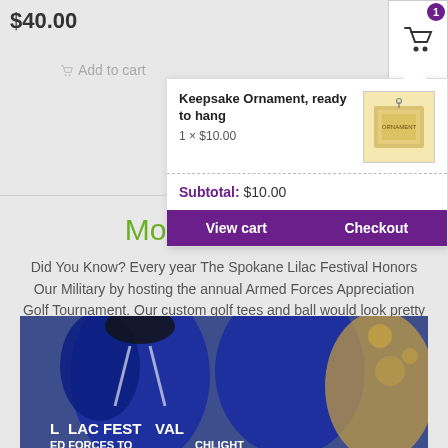$40.00
Add to cart
Keepsake Ornament, ready to hang
1 × $10.00
Subtotal: $10.00
View cart
Checkout
More Lilac Fun
Did You Know? Every year The Spokane Lilac Festival Honors Our Military by hosting the annual Armed Forces Appreciation Golf Tournament. Our custom golf tees and ball would look pretty great on the course!
[Figure (photo): People wearing blue Lilac Festival jackets with text 'LILAC FESTIVAL ARMED FORCES TO HIGHLIGHT']